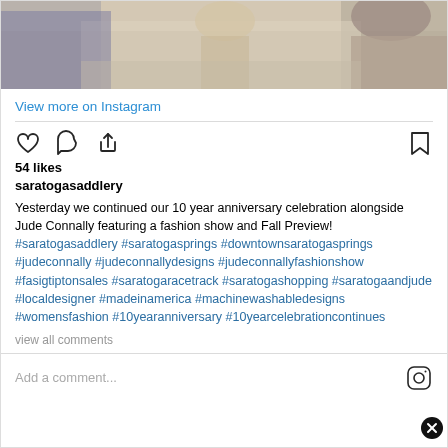[Figure (photo): Top portion of an Instagram post showing a fashion show scene with people standing on a street/walkway, visible legs and feet.]
View more on Instagram
[Figure (infographic): Instagram action icons: heart (like), comment bubble, share arrow on left; bookmark on right]
54 likes
saratogasaddlery
Yesterday we continued our 10 year anniversary celebration alongside Jude Connally featuring a fashion show and Fall Preview! #saratogasaddlery #saratogasprings #downtownsaratogasprings #judeconnally #judeconnallydesigns #judeconnallyfashionshow #fasigtiptonsales #saratogaracetrack #saratogashopping #saratogaandjude #localdesigner #madeinamerica #machinewashabledesigns #womensfashion #10yearanniversary #10yearcelebrationcontinues
view all comments
Add a comment...